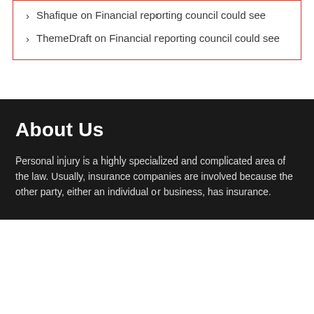Shafique on Financial reporting council could see
ThemeDraft on Financial reporting council could see
About Us
Personal injury is a highly specialized and complicated area of the law. Usually, insurance companies are involved because the other party, either an individual or business, has insurance.